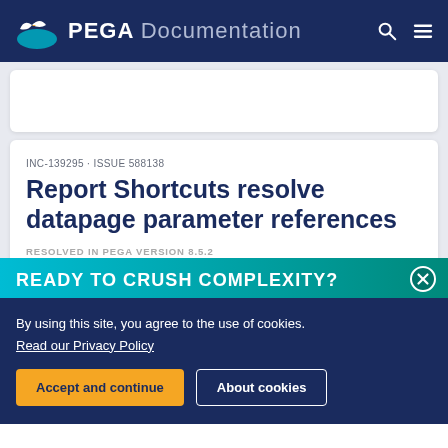PEGA Documentation
INC-139295 · ISSUE 588138
Report Shortcuts resolve datapage parameter references
RESOLVED IN PEGA VERSION 8.5.2
READY TO CRUSH COMPLEXITY?
By using this site, you agree to the use of cookies.
Read our Privacy Policy
Accept and continue
About cookies